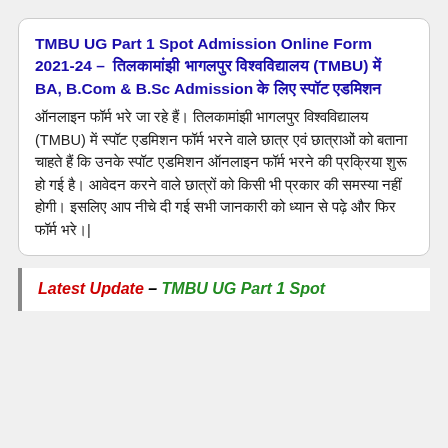TMBU UG Part 1 Spot Admission Online Form 2021-24 – तिलकामांझी भागलपुर विश्वविद्यालय (TMBU) में BA, B.Com & B.Sc Admission के लिए स्पॉट एडमिशन
ऑनलाइन फॉर्म भरे जा रहे हैं। तिलकामांझी भागलपुर विश्वविद्यालय (TMBU) में स्पॉट एडमिशन फॉर्म भरने वाले छात्र एवं छात्राओं को बताना चाहते हैं कि उनके स्पॉट एडमिशन ऑनलाइन फॉर्म भरने की प्रक्रिया शुरू हो गई है। आवेदन करने वाले छात्रों को किसी भी प्रकार की समस्या नहीं होगी।
Latest Update – TMBU UG Part 1 Spot